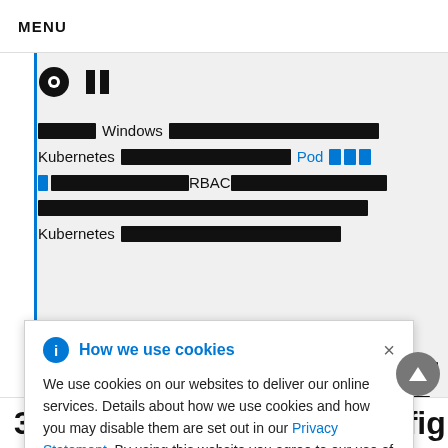MENU
[Figure (screenshot): Kubernetes/Windows documentation page screenshot with pin icon, pause icon, and redacted text lines including 'Windows', 'Kubernetes', 'Pod', 'RBAC', 'Kubernetes']
How we use cookies
We use cookies on our websites to deliver our online services. Details about how we use cookies and how you may disable them are set out in our Privacy Statement. By using this website you agree to our use of cookies.
31 Windows Machine Config